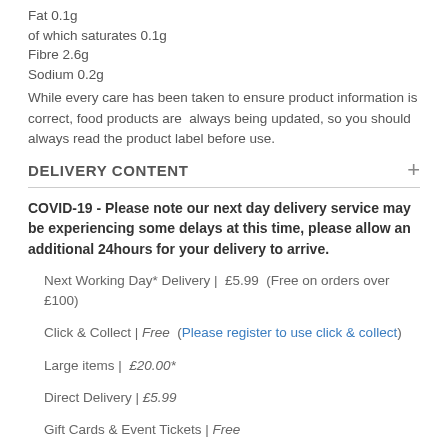Fat 0.1g
of which saturates 0.1g
Fibre 2.6g
Sodium 0.2g
While every care has been taken to ensure product information is correct, food products are always being updated, so you should always read the product label before use.
DELIVERY CONTENT
COVID-19 - Please note our next day delivery service may be experiencing some delays at this time, please allow an additional 24hours for your delivery to arrive.
Next Working Day* Delivery | £5.99 (Free on orders over £100)
Click & Collect | Free (Please register to use click & collect)
Large items | £20.00*
Direct Delivery | £5.99
Gift Cards & Event Tickets | Free